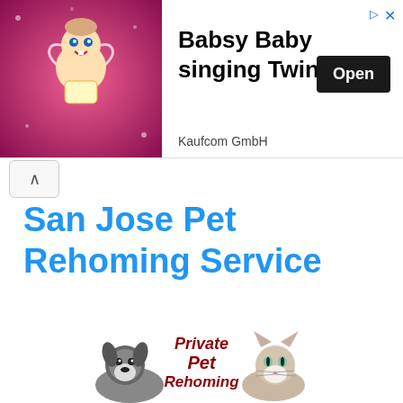[Figure (illustration): Advertisement banner: Babsy Baby animated character on pink sparkly background with heart, next to ad text 'Babsy Baby singing Twinkle', 'Kaufcom GmbH', and an 'Open' button]
San Jose Pet Rehoming Service
[Figure (infographic): Private Pet Rehoming advertisement image showing a dog and cat flanking bold red italic text 'Private Pet Rehoming', with 'Just $150 per pet' text, a dark tan 'CLICK HERE!' button, and PayPal payment logos including Mastercard, Visa, American Express, Discover, and Bank cards]